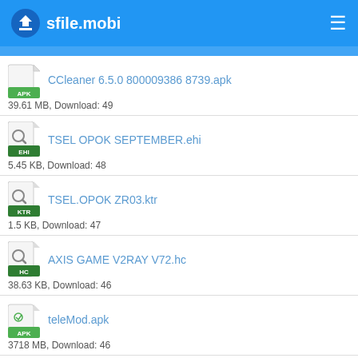sfile.mobi
CCleaner 6.5.0 800009386 8739.apk
39.61 MB, Download: 49
TSEL OPOK SEPTEMBER.ehi
5.45 KB, Download: 48
TSEL.OPOK ZR03.ktr
1.5 KB, Download: 47
AXIS GAME V2RAY V72.hc
38.63 KB, Download: 46
teleMod.apk
3718 MB, Download: 46
jetAudio Plus 9.7.1U 5458.apk
16.76 MB, Download: 46